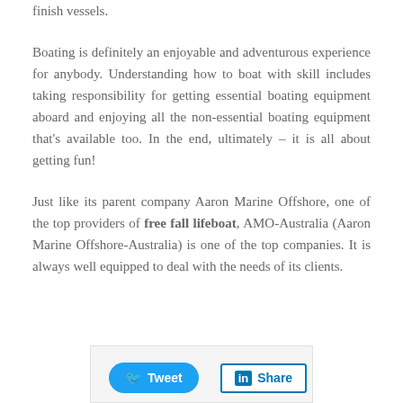finish vessels.
Boating is definitely an enjoyable and adventurous experience for anybody. Understanding how to boat with skill includes taking responsibility for getting essential boating equipment aboard and enjoying all the non-essential boating equipment that’s available too. In the end, ultimately – it is all about getting fun!
Just like its parent company Aaron Marine Offshore, one of the top providers of free fall lifeboat, AMO-Australia (Aaron Marine Offshore-Australia) is one of the top companies. It is always well equipped to deal with the needs of its clients.
[Figure (other): Social sharing bar with Tweet and Share buttons]